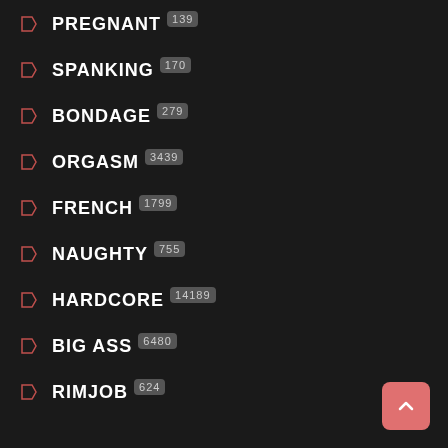PREGNANT 139
SPANKING 170
BONDAGE 279
ORGASM 3439
FRENCH 1799
NAUGHTY 755
HARDCORE 14189
BIG ASS 6480
RIMJOB 624